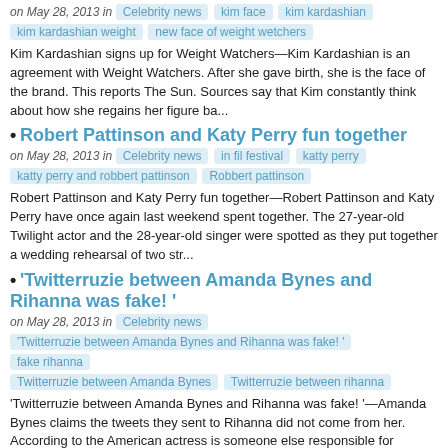on May 28, 2013 in  Celebrity news  kim face  kim kardashian  kim kardashian weight  new face of weight wetchers
Kim Kardashian signs up for Weight Watchers—Kim Kardashian is an agreement with Weight Watchers. After she gave birth, she is the face of the brand. This reports The Sun. Sources say that Kim constantly think about how she regains her figure ba...
Robert Pattinson and Katy Perry fun together
on May 28, 2013 in  Celebrity news  in fil festival  katty perry  katty perry and robbert pattinson  Robbert pattinson
Robert Pattinson and Katy Perry fun together—Robert Pattinson and Katy Perry have once again last weekend spent together. The 27-year-old Twilight actor and the 28-year-old singer were spotted as they put together a wedding rehearsal of two str...
'Twitterruzie between Amanda Bynes and Rihanna was fake! '
on May 28, 2013 in  Celebrity news
'Twitterruzie between Amanda Bynes and Rihanna was fake! '  fake rihanna  Twitterruzie between Amanda Bynes  Twitterruzie between rihanna
'Twitterruzie between Amanda Bynes and Rihanna was fake! '—Amanda Bynes claims the tweets they sent to Rihanna did not come from her. According to the American actress is someone else responsible for causing the huge bitch fight on...
The Journal of Doutzen Kroes in Cannes
on May 28, 2013 in  Celebrity news  cannes festival  dourtzen kroes  The Journal of Doutzen Kroes in Cannes
The Journal of Doutzen Kroes in Cannes—Doutzen Kroes held specially for